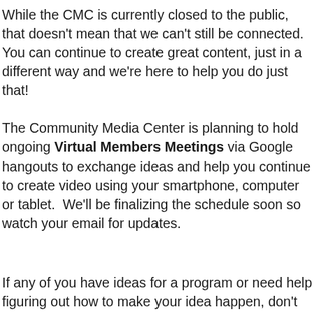While the CMC is currently closed to the public, that doesn't mean that we can't still be connected. You can continue to create great content, just in a different way and we're here to help you do just that!
The Community Media Center is planning to hold ongoing Virtual Members Meetings via Google hangouts to exchange ideas and help you continue to create video using your smartphone, computer or tablet.  We'll be finalizing the schedule soon so watch your email for updates.
If any of you have ideas for a program or need help figuring out how to make your idea happen, don't hesitate to reach out.  Like the headline says, we ma